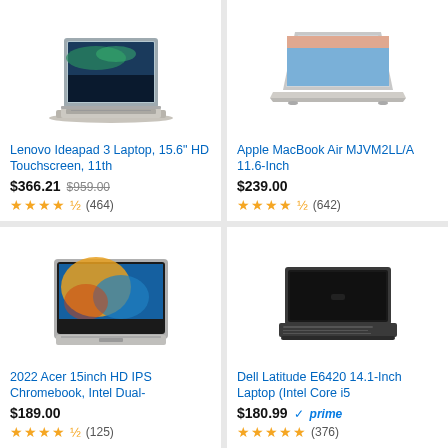[Figure (photo): Lenovo Ideapad 3 laptop product photo, open, silver color]
Lenovo Ideapad 3 Laptop, 15.6" HD Touchscreen, 11th
$366.21 $959.00 ★★★★½ (464)
[Figure (photo): Apple MacBook Air MJVM2LL/A laptop product photo, open, silver]
Apple MacBook Air MJVM2LL/A 11.6-Inch
$239.00 ★★★★½ (642)
[Figure (photo): 2022 Acer 15inch Chromebook product photo, colorful screen]
2022 Acer 15inch HD IPS Chromebook, Intel Dual-
$189.00 ★★★★½ (125)
[Figure (photo): Dell Latitude E6420 14.1-Inch laptop product photo, black, closed]
Dell Latitude E6420 14.1-Inch Laptop (Intel Core i5
$180.99 prime ★★★★★ (376)